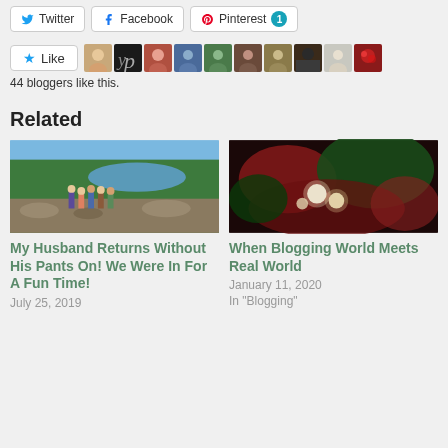[Figure (screenshot): Social share buttons row: Twitter, Facebook, Pinterest (with count 1)]
[Figure (screenshot): Like button with star icon and 10 blogger avatar thumbnails]
44 bloggers like this.
Related
[Figure (photo): Group of people standing on rocky riverbank with forest and lake in background]
My Husband Returns Without His Pants On! We Were In For A Fun Time!
July 25, 2019
[Figure (photo): Dark red-lit scene with glowing orbs among foliage]
When Blogging World Meets Real World
January 11, 2020
In "Blogging"